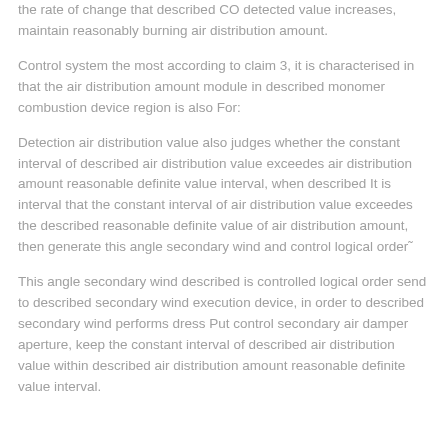the rate of change that described CO detected value increases, maintain reasonably burning air distribution amount.
Control system the most according to claim 3, it is characterised in that the air distribution amount module in described monomer combustion device region is also For:
Detection air distribution value also judges whether the constant interval of described air distribution value exceedes air distribution amount reasonable definite value interval, when described It is interval that the constant interval of air distribution value exceedes the described reasonable definite value of air distribution amount, then generate this angle secondary wind and control logical order
This angle secondary wind described is controlled logical order send to described secondary wind execution device, in order to described secondary wind performs dress Put control secondary air damper aperture, keep the constant interval of described air distribution value within described air distribution amount reasonable definite value interval.